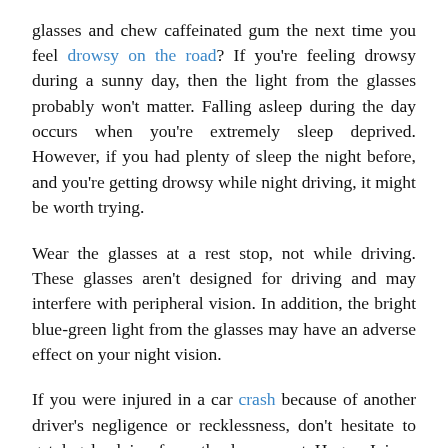glasses and chew caffeinated gum the next time you feel drowsy on the road? If you're feeling drowsy during a sunny day, then the light from the glasses probably won't matter. Falling asleep during the day occurs when you're extremely sleep deprived. However, if you had plenty of sleep the night before, and you're getting drowsy while night driving, it might be worth trying.
Wear the glasses at a rest stop, not while driving. These glasses aren't designed for driving and may interfere with peripheral vision. In addition, the bright blue-green light from the glasses may have an adverse effect on your night vision.
If you were injured in a car crash because of another driver's negligence or recklessness, don't hesitate to get legal advice from the lawyers at Hogan Injury. Contact us today.